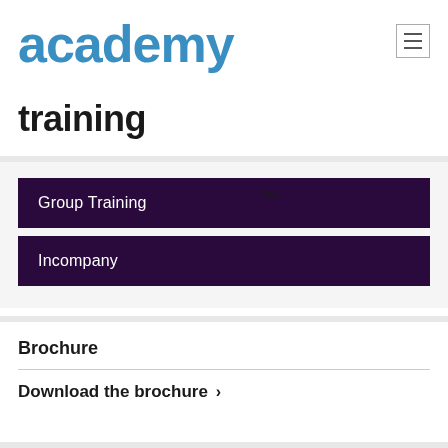academy
training
Group Training
Incompany
Brochure
Download the brochure >